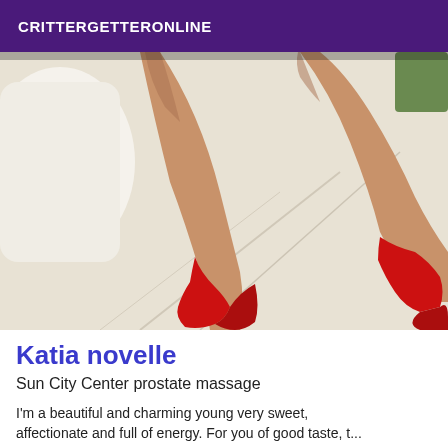CRITTERGETTERONLINE
[Figure (photo): A person posing on a bed wearing red high heels, photographed from the torso down.]
Katia novelle
Sun City Center prostate massage
I'm a beautiful and charming young very sweet, affectionate and full of energy. For you of good taste, t...